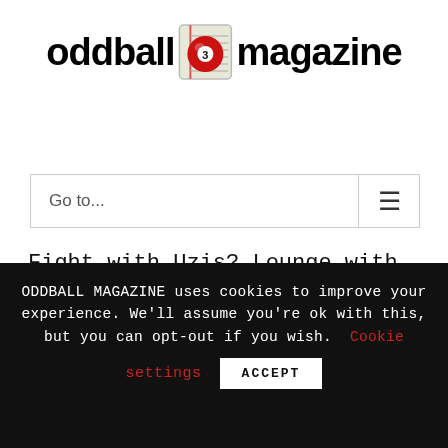[Figure (logo): Oddball Magazine logo: text 'oddball magazine' with a red billiard ball numbered 3 on a notepad icon in the center of the text]
Go to...
Fight with Uzis? Lounge with floozies? Via Crucis or Jacuzzis?
ODDBALL MAGAZINE uses cookies to improve your experience. We'll assume you're ok with this, but you can opt-out if you wish. Cookie settings ACCEPT